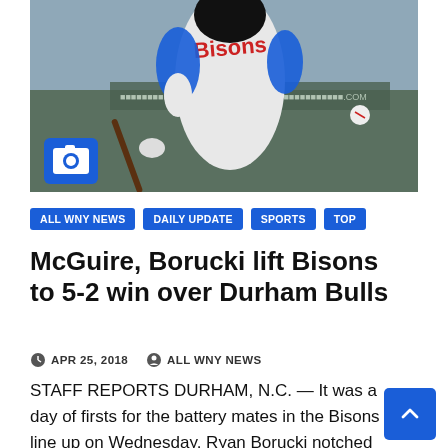[Figure (photo): Baseball player in Bisons uniform swinging a bat, wearing blue sleeves, at a stadium]
ALL WNY NEWS
DAILY UPDATE
SPORTS
TOP
McGuire, Borucki lift Bisons to 5-2 win over Durham Bulls
APR 25, 2018   ALL WNY NEWS
STAFF REPORTS DURHAM, N.C. — It was a day of firsts for the battery mates in the Bisons line up on Wednesday. Ryan Borucki notched his first career Triple-A victory and his